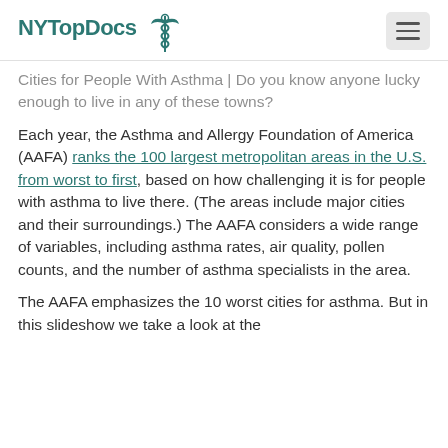NYTopDocs
Cities for People With Asthma | Do you know anyone lucky enough to live in any of these towns?
Each year, the Asthma and Allergy Foundation of America (AAFA) ranks the 100 largest metropolitan areas in the U.S. from worst to first, based on how challenging it is for people with asthma to live there. (The areas include major cities and their surroundings.) The AAFA considers a wide range of variables, including asthma rates, air quality, pollen counts, and the number of asthma specialists in the area.
The AAFA emphasizes the 10 worst cities for asthma. But in this slideshow we take a look at the